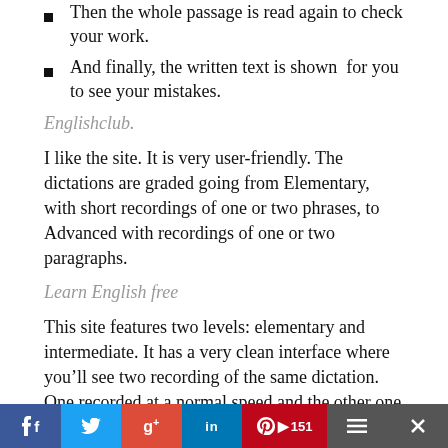Then the whole passage is read again to check your work.
And finally, the written text is shown for you to see your mistakes.
Englishclub.
I like the site. It is very user-friendly. The dictations are graded going from Elementary, with short recordings of one or two phrases, to Advanced with recordings of one or two paragraphs.
Learn English free
This site features two levels: elementary and intermediate. It has a very clean interface where you'll see two recording of the same dictation. One recorded at a normal speed and the other one at a slow speed with pauses to give you time to write s…w the